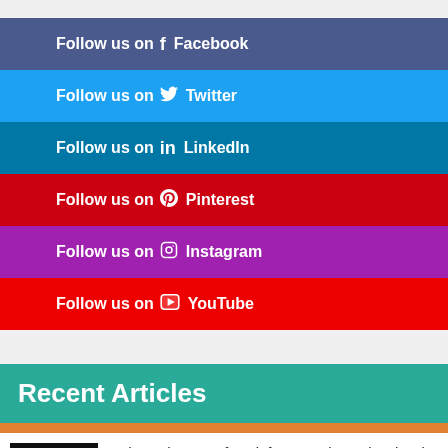Follow us on Facebook
Follow us on Twitter
Follow us on LinkedIn
Follow us on Pinterest
Follow us on Instagram
Follow us on YouTube
Recent Articles
#Short The Hunt for Bigfoot Continues in Classic Design led Expedition Bigfoot Today